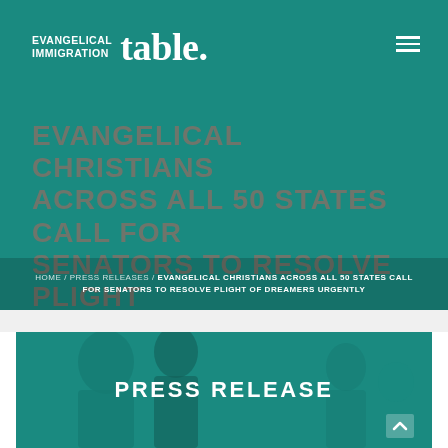EVANGELICAL IMMIGRATION table.
EVANGELICAL CHRISTIANS ACROSS ALL 50 STATES CALL FOR SENATORS TO RESOLVE PLIGHT OF DREAMERS URGENTLY
HOME / PRESS RELEASES / EVANGELICAL CHRISTIANS ACROSS ALL 50 STATES CALL FOR SENATORS TO RESOLVE PLIGHT OF DREAMERS URGENTLY
[Figure (photo): Press release banner with teal overlay showing people in background, with text PRESS RELEASE centered in white bold letters]